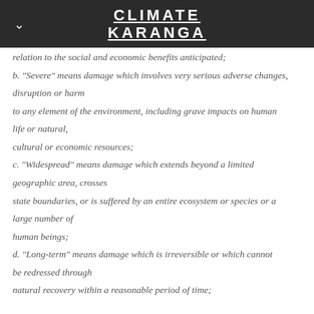CLIMATE KARANGA
relation to the social and economic benefits anticipated;
b. "Severe" means damage which involves very serious adverse changes, disruption or harm to any element of the environment, including grave impacts on human life or natural, cultural or economic resources;
c. "Widespread" means damage which extends beyond a limited geographic area, crosses state boundaries, or is suffered by an entire ecosystem or species or a large number of human beings;
d. "Long-term" means damage which is irreversible or which cannot be redressed through natural recovery within a reasonable period of time;